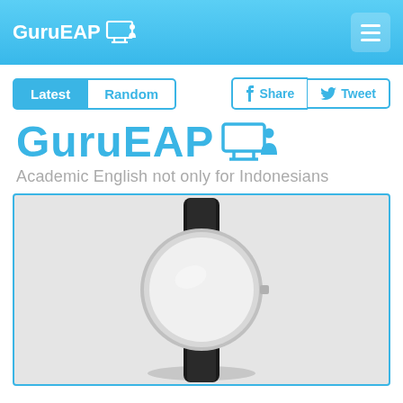GuruEAP
Latest | Random | Share | Tweet
GuruEAP
Academic English not only for Indonesians
[Figure (photo): A minimalist wristwatch with blank white face, silver case, and black leather strap on a light grey background]